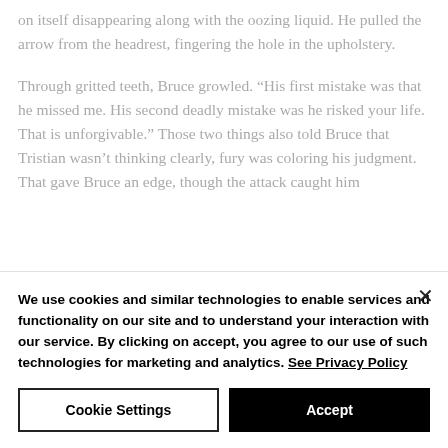on itself disappearing along with the oozing liquid. He pulled the arrow from the headrest, fingering the hole in the upholstery.
Through gritted teeth, Bruce growled. “His first mistake was that he missed me. His second deadly mistake was he risked your life. That is unforgivable.” Those two things also told Bruce that Tristian wasn’t thinking clearly, fury was coloring his judgment. That gave Bruce an edge, though the attack caught him
We use cookies and similar technologies to enable services and functionality on our site and to understand your interaction with our service. By clicking on accept, you agree to our use of such technologies for marketing and analytics. See Privacy Policy